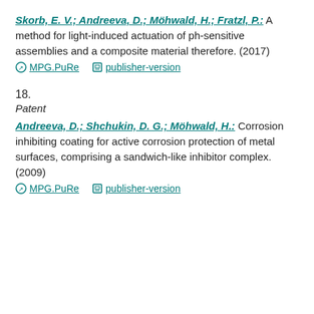Skorb, E. V.; Andreeva, D.; Möhwald, H.; Fratzl, P.: A method for light-induced actuation of ph-sensitive assemblies and a composite material therefore. (2017)
MPG.PuRe   publisher-version
18.
Patent
Andreeva, D.; Shchukin, D. G.; Möhwald, H.: Corrosion inhibiting coating for active corrosion protection of metal surfaces, comprising a sandwich-like inhibitor complex. (2009)
MPG.PuRe   publisher-version